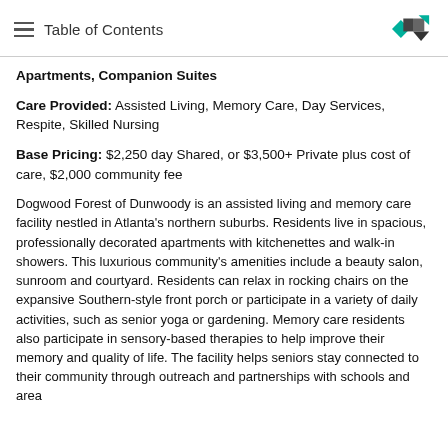Table of Contents
Apartments, Companion Suites
Care Provided: Assisted Living, Memory Care, Day Services, Respite, Skilled Nursing
Base Pricing: $2,250 day Shared, or $3,500+ Private plus cost of care, $2,000 community fee
Dogwood Forest of Dunwoody is an assisted living and memory care facility nestled in Atlanta's northern suburbs. Residents live in spacious, professionally decorated apartments with kitchenettes and walk-in showers. This luxurious community's amenities include a beauty salon, sunroom and courtyard. Residents can relax in rocking chairs on the expansive Southern-style front porch or participate in a variety of daily activities, such as senior yoga or gardening. Memory care residents also participate in sensory-based therapies to help improve their memory and quality of life. The facility helps seniors stay connected to their community through outreach and partnerships with schools and area